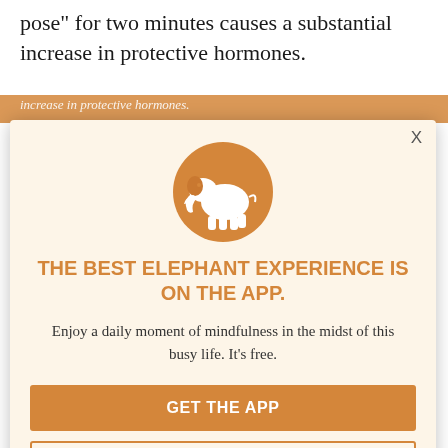pose” for two minutes causes a substantial increase in protective hormones.
Cuddy observed two groups—one holding high-power poses and one holding low-power poses—and these were her findings. “Only a small amount of holding a high-power pose” was enough to boost testosterone… cortisol also decreased… The ‘low-power’ group saw a 10% reduction in salivary testosterone and a 15% increase in the stress hormone cortisol.”
THE BEST ELEPHANT EXPERIENCE IS ON THE APP.
Enjoy a daily moment of mindfulness in the midst of this busy life. It’s free.
GET THE APP
OPEN IN APP